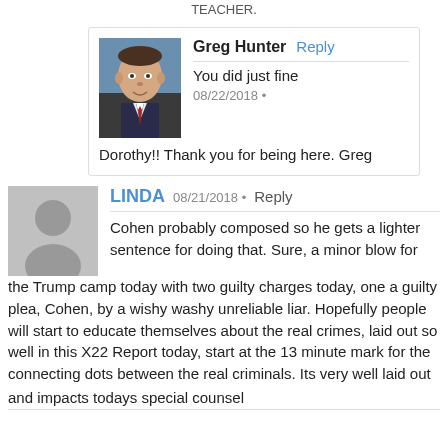TEACHER.
Greg Hunter
08/22/2018
You did just fine
Dorothy!! Thank you for being here. Greg
LINDA
08/21/2018
Cohen probably composed so he gets a lighter sentence for doing that. Sure, a minor blow for the Trump camp today with two guilty charges today, one a guilty plea, Cohen, by a wishy washy unreliable liar. Hopefully people will start to educate themselves about the real crimes, laid out so well in this X22 Report today, start at the 13 minute mark for the connecting dots between the real criminals. Its very well laid out and impacts todays special counsel